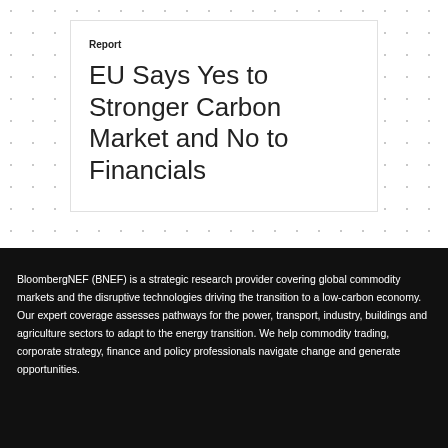Report
EU Says Yes to Stronger Carbon Market and No to Financials
BloombergNEF (BNEF) is a strategic research provider covering global commodity markets and the disruptive technologies driving the transition to a low-carbon economy. Our expert coverage assesses pathways for the power, transport, industry, buildings and agriculture sectors to adapt to the energy transition. We help commodity trading, corporate strategy, finance and policy professionals navigate change and generate opportunities.